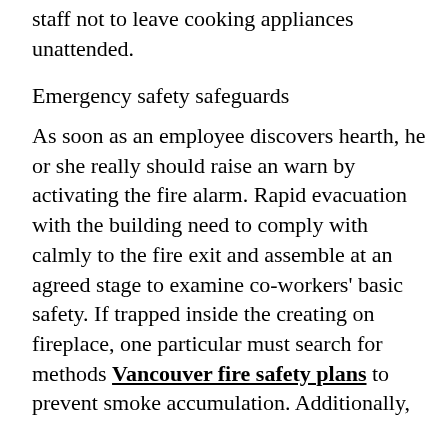staff not to leave cooking appliances unattended.
Emergency safety safeguards
As soon as an employee discovers hearth, he or she really should raise an warn by activating the fire alarm. Rapid evacuation with the building need to comply with calmly to the fire exit and assemble at an agreed stage to examine co-workers' basic safety. If trapped inside the creating on fireplace, one particular must search for methods Vancouver fire safety plans to prevent smoke accumulation. Additionally,